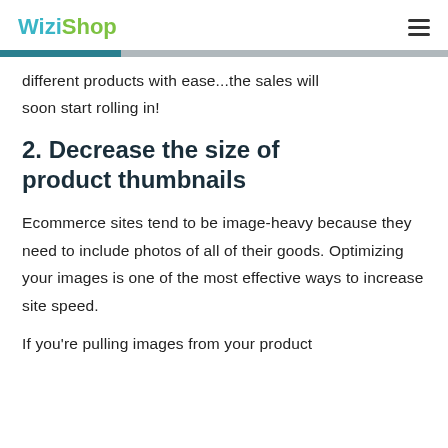WiziShop
different products with ease...the sales will soon start rolling in!
2. Decrease the size of product thumbnails
Ecommerce sites tend to be image-heavy because they need to include photos of all of their goods. Optimizing your images is one of the most effective ways to increase site speed.
If you're pulling images from your product